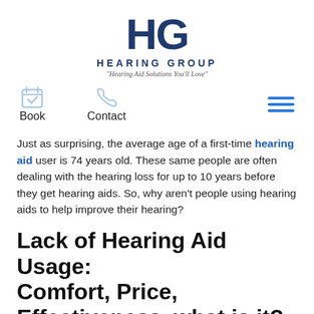[Figure (logo): Hearing Group logo with large HG letters in dark navy, 'HEARING GROUP' text, and tagline 'Hearing Aid Solutions You'll Love']
[Figure (infographic): Navigation bar with calendar/book icon labeled 'Book', phone icon labeled 'Contact', and hamburger menu icon (three blue lines) on the right]
Just as surprising, the average age of a first-time hearing aid user is 74 years old. These same people are often dealing with the hearing loss for up to 10 years before they get hearing aids. So, why aren't people using hearing aids to help improve their hearing?
Lack of Hearing Aid Usage: Comfort, Price, Effectiveness, what is it?